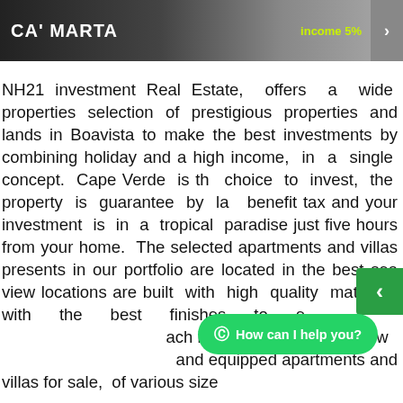[Figure (screenshot): Dark banner with property name CA' MARTA, income 5% label in yellow-green, and a right arrow button on dark background showing a property image]
NH21 investment Real Estate, offers a wide properties selection of prestigious properties and lands in Boavista to make the best investments by combining holiday and a high income, in a single concept. Cape Verde is the choice to invest, the property is guarantee by law benefit tax and your investment is in a tropical paradise just five hours from your home. The selected apartments and villas presents in our portfolio are located in the best sea view locations are built with high quality materials with the best finishes to ensure the interiors, each island of Cape Verde we offer fully furnished and equipped apartments and villas for sale, of various sizes